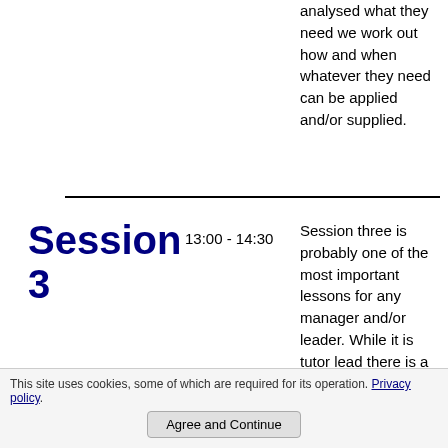analysed what they need we work out how and when whatever they need can be applied and/or supplied.
Session
3
13:00 - 14:30
Session three is probably one of the most important lessons for any manager and/or leader. While it is tutor lead there is a
Building a high
This site uses cookies, some of which are required for its operation. Privacy policy